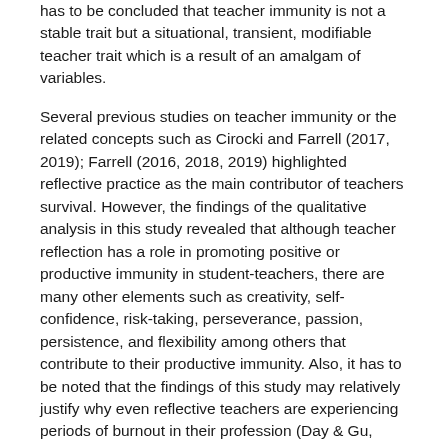has to be concluded that teacher immunity is not a stable trait but a situational, transient, modifiable teacher trait which is a result of an amalgam of variables.
Several previous studies on teacher immunity or the related concepts such as Cirocki and Farrell (2017, 2019); Farrell (2016, 2018, 2019) highlighted reflective practice as the main contributor of teachers survival. However, the findings of the qualitative analysis in this study revealed that although teacher reflection has a role in promoting positive or productive immunity in student-teachers, there are many other elements such as creativity, self-confidence, risk-taking, perseverance, passion, persistence, and flexibility among others that contribute to their productive immunity. Also, it has to be noted that the findings of this study may relatively justify why even reflective teachers are experiencing periods of burnout in their profession (Day & Gu, 2014). This is due to the fact that, according to the findings of the study, teachers' immunity is a dynamic or, in a better sense, organic trait. This "organicity" of the trait does not only accounts for the transient nature of immunity among the student teachers or the practicing teachers which leads to the occasional feeling of burnout, but also justifies this phenomenon through giving roles to those